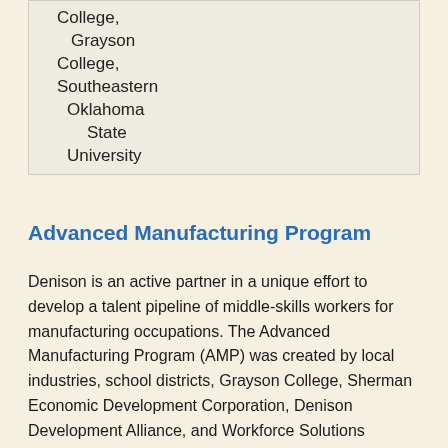| College, Grayson College, Southeastern Oklahoma State University |
Advanced Manufacturing Program
Denison is an active partner in a unique effort to develop a talent pipeline of middle-skills workers for manufacturing occupations. The Advanced Manufacturing Program (AMP) was created by local industries, school districts, Grayson College, Sherman Economic Development Corporation, Denison Development Alliance, and Workforce Solutions Texoma.